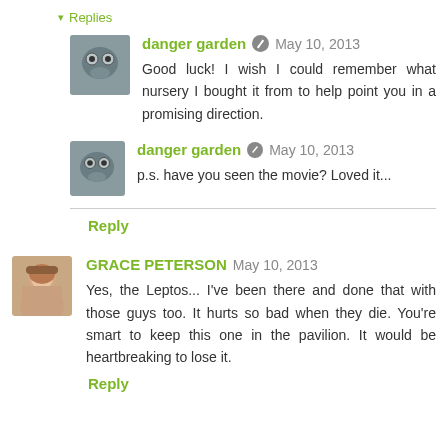▾ Replies
danger garden  May 10, 2013
Good luck! I wish I could remember what nursery I bought it from to help point you in a promising direction.
danger garden  May 10, 2013
p.s. have you seen the movie? Loved it...
Reply
GRACE PETERSON  May 10, 2013
Yes, the Leptos... I've been there and done that with those guys too. It hurts so bad when they die. You're smart to keep this one in the pavilion. It would be heartbreaking to lose it.
Reply